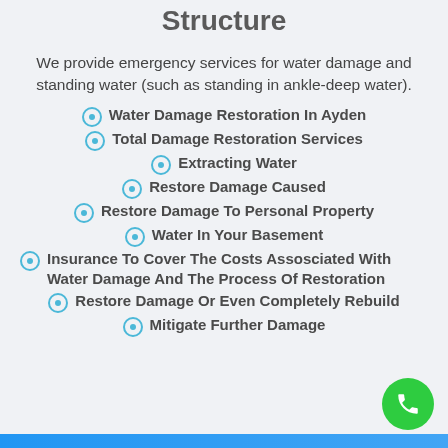Structure
We provide emergency services for water damage and standing water (such as standing in ankle-deep water).
Water Damage Restoration In Ayden
Total Damage Restoration Services
Extracting Water
Restore Damage Caused
Restore Damage To Personal Property
Water In Your Basement
Insurance To Cover The Costs Assosciated With Water Damage And The Process Of Restoration
Restore Damage Or Even Completely Rebuild
Mitigate Further Damage